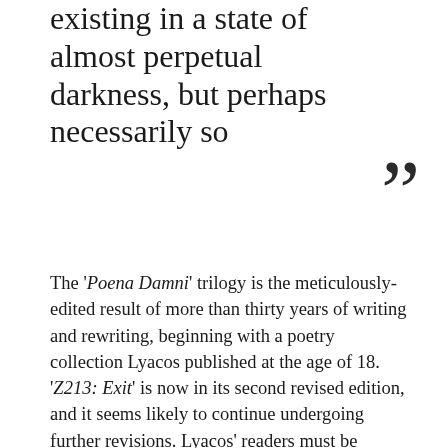existing in a state of almost perpetual darkness, but perhaps necessarily so ”
The ‘Poena Damni’ trilogy is the meticulously-edited result of more than thirty years of writing and rewriting, beginning with a poetry collection Lyacos published at the age of 18. ‘Z213: Exit’ is now in its second revised edition, and it seems likely to continue undergoing further revisions. Lyacos’ readers must be reminded of James Joyce in conversation with Max Eastman: “The demand that I make of my reader is that he should devote his whole life to reading my works.”